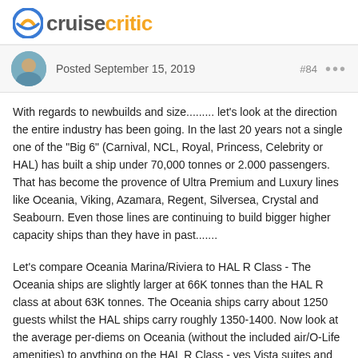cruisecritic
Posted September 15, 2019  #84
With regards to newbuilds and size......... let's look at the direction the entire industry has been going.  In the last 20 years not a single one of the "Big 6" (Carnival, NCL, Royal, Princess, Celebrity or HAL) has built a ship under 70,000 tonnes or 2,000 passengers.  That has become the provence of Ultra Premium and Luxury lines like Oceania, Viking, Azamara, Regent, Silversea, Crystal and Seabourn.   Even those lines are continuing to build bigger higher capacity ships than they have in past.......
Let's compare Oceania Marina/Riviera to HAL R Class  - The Oceania ships are slightly larger at 66K tonnes than the HAL R class at about 63K tonnes.  The Oceania ships carry about 1250 guests whilst the HAL ships carry roughly 1350-1400.   Now look at the average per-diems on Oceania (without the included air/O-Life amenities) to anything on the HAL R Class - yes Vista suites and higher might compare with Oceania pricing, but I'm willing to bet on similar itineraries you will see Oceania price out significantly higher for Inside and Oceanview rooms than HAL.  HAL also